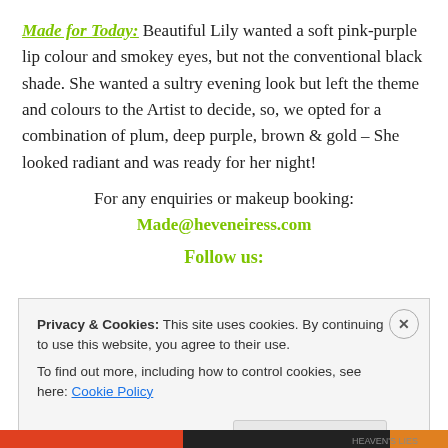Made for Today: Beautiful Lily wanted a soft pink-purple lip colour and smokey eyes, but not the conventional black shade. She wanted a sultry evening look but left the theme and colours to the Artist to decide, so, we opted for a combination of plum, deep purple, brown & gold – She looked radiant and was ready for her night!
For any enquiries or makeup booking: Made@heveneiress.com
Follow us:
Privacy & Cookies: This site uses cookies. By continuing to use this website, you agree to their use. To find out more, including how to control cookies, see here: Cookie Policy
Close and accept